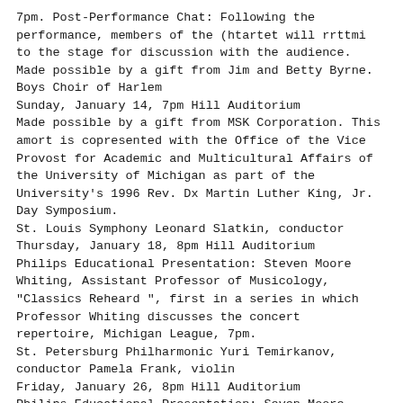7pm. Post-Performance Chat: Following the performance, members of the (htartet will rrttmi to the stage for discussion with the audience.
Made possible by a gift from Jim and Betty Byrne.
Boys Choir of Harlem
Sunday, January 14, 7pm Hill Auditorium
Made possible by a gift from MSK Corporation. This amort is copresented with the Office of the Vice Provost for Academic and Multicultural Affairs of the University of Michigan as part of the University's 1996 Rev. Dx Martin Luther King, Jr. Day Symposium.
St. Louis Symphony Leonard Slatkin, conductor Thursday, January 18, 8pm Hill Auditorium
Philips Educational Presentation: Steven Moore Whiting, Assistant Professor of Musicology, "Classics Reheard", first in a series in which Professor Whiting discusses the concert repertoire, Michigan League, 7pm.
St. Petersburg Philharmonic Yuri Temirkanov, conductor Pamela Frank, violin
Friday, January 26, 8pm Hill Auditorium
Philips Educational Presentation: Seven Moore Whiting. Assistant Professor of Musicology, "Classics Reheard", second in a series in which Professor Whiting discusses the concert repertoire, Michigan League, 7pm. Made possible by a gift from